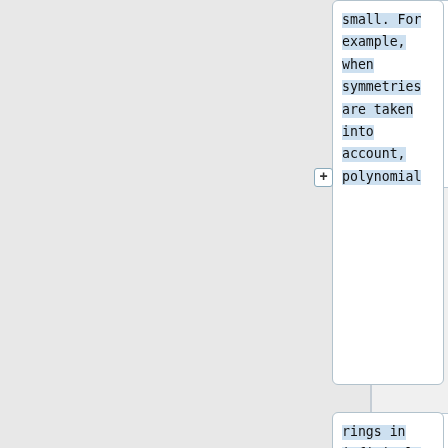small. For example, when symmetries are taken into account, polynomial
rings in infinitely many variables retain some of the favorable
properties of polynomial rings in finitely many